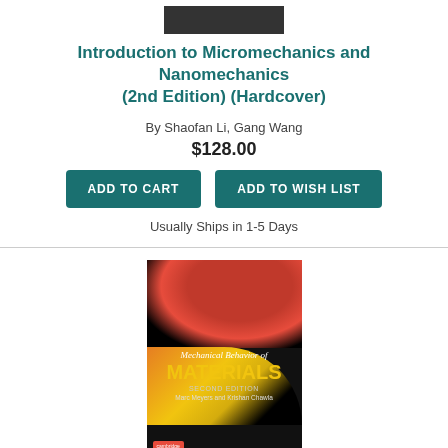[Figure (photo): Top portion of a book cover (cropped, dark background)]
Introduction to Micromechanics and Nanomechanics (2nd Edition) (Hardcover)
By Shaofan Li, Gang Wang
$128.00
ADD TO CART   ADD TO WISH LIST
Usually Ships in 1-5 Days
[Figure (photo): Book cover of Mechanical Behavior of Materials, Second Edition by Marc Meyers and Krishan Chawla. Black cover with red cellular image at top and orange/yellow metallic shape at bottom.]
Mechanical Behavior of Materials (Hardcover)
By Marc André Meyers, Krishan Kumar Chawla
$102.00